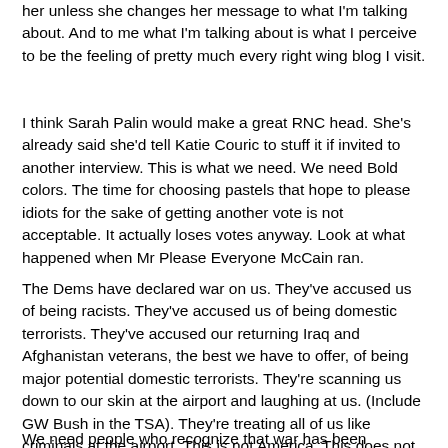her unless she changes her message to what I'm talking about.  And to me what I'm talking about is what I perceive to be the feeling of pretty much every right wing blog I visit.
I think Sarah Palin would make a great RNC head.  She's already said she'd tell Katie Couric to stuff it if invited to another interview.  This is what we need.  We need Bold colors.  The time for choosing pastels that hope to please idiots for the sake of getting another vote is not acceptable.  It actually loses votes anyway.  Look at what happened when Mr Please Everyone McCain ran.
The Dems have declared war on us.  They've accused us of being racists.  They've accused us of being domestic terrorists. They've accused our returning Iraq and Afghanistan veterans, the best we have to offer, of being major potential domestic terrorists.  They're scanning us down to our skin at the airport and laughing at us. (Include GW Bush in the TSA).  They're treating all of us like criminals at the airport.  This is not America.  This does not resemble ANY America I have ever been familiar with up until the year 2009.
We need people who recognize that war has been declared on America...